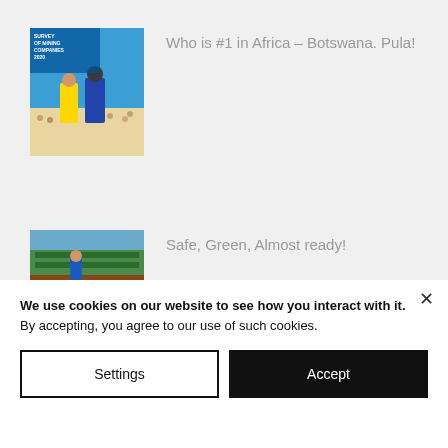[Figure (photo): Cover of Survey of Mining Companies 2020 publication, showing workers in a field with blue sky background]
Who is #1 in Africa – Botswana. Pula!
[Figure (photo): Photo showing industrial/agricultural scene with green and blue elements, workers in blue uniforms]
Safe, Green, Almost ready!
Archive
We use cookies on our website to see how you interact with it. By accepting, you agree to our use of such cookies.